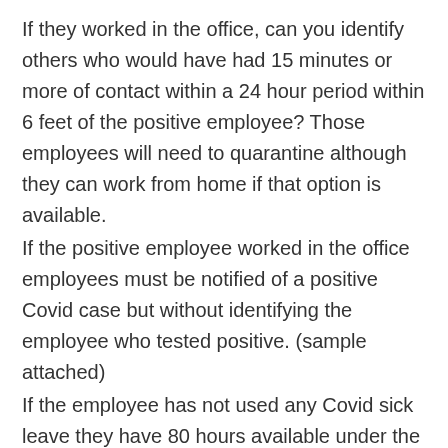If they worked in the office, can you identify others who would have had 15 minutes or more of contact within a 24 hour period within 6 feet of the positive employee? Those employees will need to quarantine although they can work from home if that option is available.
If the positive employee worked in the office employees must be notified of a positive Covid case but without identifying the employee who tested positive. (sample attached)
If the employee has not used any Covid sick leave they have 80 hours available under the FFCRA. The FFCRA form is attached to provide the required documentation of this sick leave use.
Report the positive case to your work comp carrier.